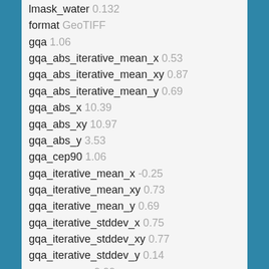lmask_water 0.132
format GeoTIFF
gqa 1.06
gqa_abs_iterative_mean_x 0.53
gqa_abs_iterative_mean_xy 0.87
gqa_abs_iterative_mean_y 0.69
gqa_abs_x 10.39
gqa_abs_xy 10.97
gqa_abs_y 3.53
gqa_cep90 1.06
gqa_iterative_mean_x -0.25
gqa_iterative_mean_xy 0.73
gqa_iterative_mean_y 0.69
gqa_iterative_stddev_x 0.75
gqa_iterative_stddev_xy 0.77
gqa_iterative_stddev_y 0.14
gqa_mean_x 9.99
gqa_mean_xy 10.39
gqa_mean_y -2.84
gqa_stddev_x 12.48